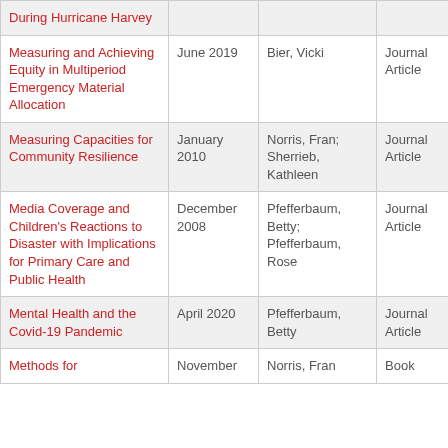| Title | Date | Author | Type |
| --- | --- | --- | --- |
| During Hurricane Harvey |  |  |  |
| Measuring and Achieving Equity in Multiperiod Emergency Material Allocation | June 2019 | Bier, Vicki | Journal Article |
| Measuring Capacities for Community Resilience | January 2010 | Norris, Fran; Sherrieb, Kathleen | Journal Article |
| Media Coverage and Children's Reactions to Disaster with Implications for Primary Care and Public Health | December 2008 | Pfefferbaum, Betty; Pfefferbaum, Rose | Journal Article |
| Mental Health and the Covid-19 Pandemic | April 2020 | Pfefferbaum, Betty | Journal Article |
| Methods for | November | Norris, Fran | Book |